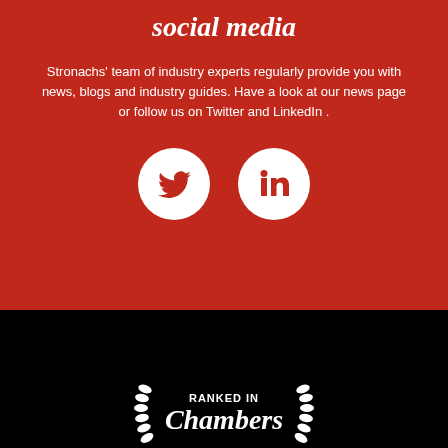social media
Stronachs' team of industry experts regularly provide you with news, blogs and industry guides. Have a look at our news page or follow us on Twitter and LinkedIn .
[Figure (logo): Twitter bird icon and LinkedIn 'in' icon in white circles on red background]
[Figure (logo): Ranked In Chambers badge with wheat/laurel decorations on black background, white text]